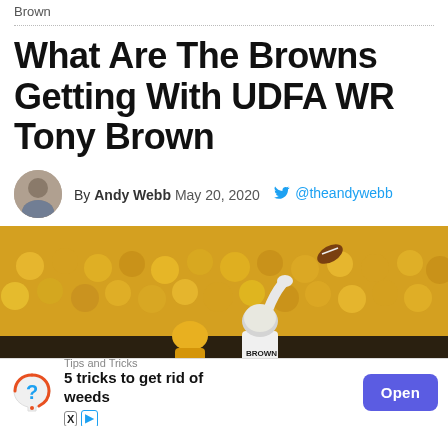Brown
What Are The Browns Getting With UDFA WR Tony Brown
By Andy Webb May 20, 2020 @theandywebb
[Figure (photo): Football player wearing jersey labeled BROWN reaching up to catch a football, with crowd in yellow shirts in background. An advertisement bar overlays the bottom showing '5 tricks to get rid of weeds' with an Open button.]
Tips and Tricks
5 tricks to get rid of weeds
Open